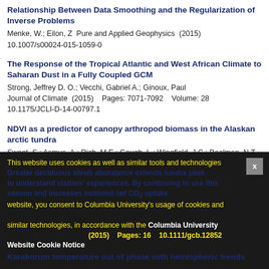Relationship Between Data Smoothing and the Regularization of Inverse Problems
Menke, W.; Eilon, Z  Pure and Applied Geophysics  (2015) 10.1007/s00024-015-1059-0
The Response of the Tropical Atlantic and West African Climate to Saharan Dust in a Fully Coupled GCM
Strong, Jeffrey D. O.; Vecchi, Gabriel A.; Ginoux, Paul Journal of Climate  (2015)    Pages: 7071-7092    Volume: 28 10.1175/JCLI-D-14-00797.1
NDVI as a predictor of canopy arthropod biomass in the Alaskan arctic tundra
Sweet, S.; Asmus, A.; Rich, M.E.; Gough, L.; Wingfield, J.C.; Boelman, N.T. Ecological Applications  (2015)    Issue: 3  Pages: 12  779 Volume: 25  10.1890/14-0632.1
Greater deciduous shrub abundance extends tundra peak season and increases modeled net CO2 uptake
Sweet, S.; Griffin, K.L.; Steltzer, H.; Gough, L.; Boelman, N.T. Global Change Biology  (2015)    Pages: 16    10.1111/gcb.12852
Karakorum temperature out of phase with hemispheric trends
This website uses cookies as well as similar tools and technologies to understand visitors' experiences. By continuing to use this website, you consent to Columbia University's usage of cookies and similar technologies, in accordance with the Columbia University Website Cookie Notice